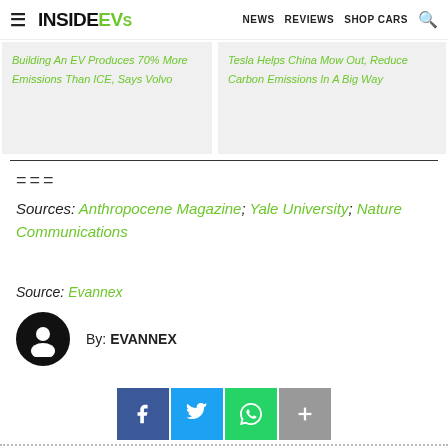InsideEVs | NEWS  REVIEWS  SHOP CARS
Building An EV Produces 70% More Emissions Than ICE, Says Volvo
Tesla Helps China Mow Out, Reduce Carbon Emissions In A Big Way
===
Sources: Anthropocene Magazine; Yale University; Nature Communications
Source: Evannex
By: EVANNEX